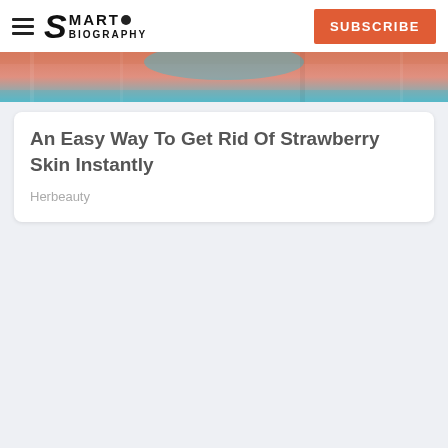SMART BIOGRAPHY | SUBSCRIBE
[Figure (photo): Partial view of a person's face and skin, cropped image strip showing skin tones in peach/salmon and teal colors]
An Easy Way To Get Rid Of Strawberry Skin Instantly
Herbeauty